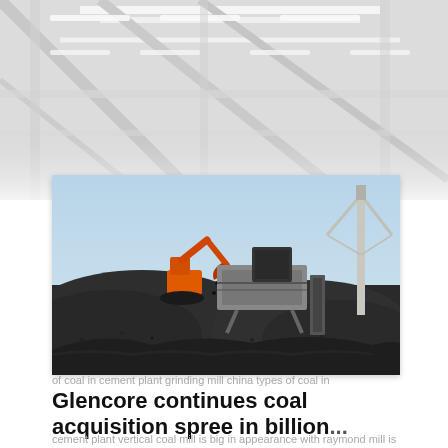[Figure (photo): Industrial interior photo showing overhead lighting, steel beams and support structures in a large factory or plant, appearing faded/washed out in light grays.]
[Figure (photo): Outdoor coal handling facility with a large orange excavator/crane loading coal, industrial conveyor machinery, large piles of black coal in the foreground, a construction crane in background, blue sky.]
of coal in cement plant grinding mill china types of coal in cement plant vertical coal mill is big in appearance with
Glencore continues coal acquisition spree in billion...
raymond mill is the heavy grinding mill but now